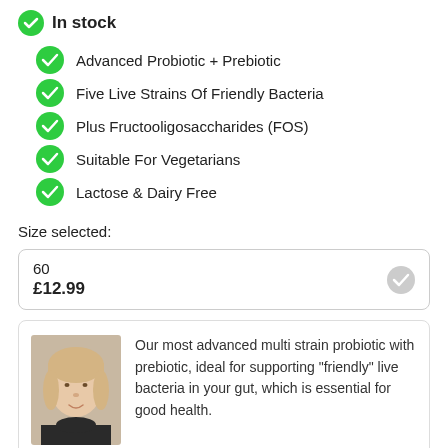In stock
Advanced Probiotic + Prebiotic
Five Live Strains Of Friendly Bacteria
Plus Fructooligosaccharides (FOS)
Suitable For Vegetarians
Lactose & Dairy Free
Size selected:
60
£12.99
[Figure (photo): Portrait photo of a blonde woman smiling, wearing a dark turtleneck]
Our most advanced multi strain probiotic with prebiotic, ideal for supporting "friendly" live bacteria in your gut, which is essential for good health.